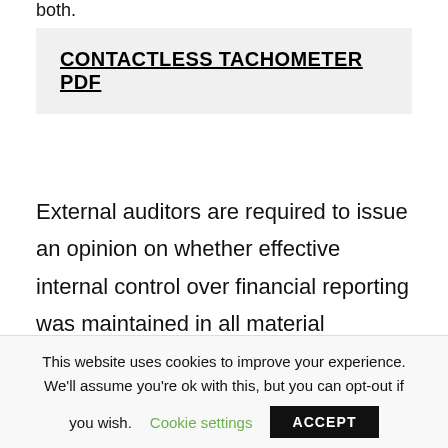both.
CONTACTLESS TACHOMETER PDF
External auditors are required to issue an opinion on whether effective internal control over financial reporting was maintained in all material respects by management.
This website uses cookies to improve your experience. We'll assume you're ok with this, but you can opt-out if you wish. Cookie settings  ACCEPT